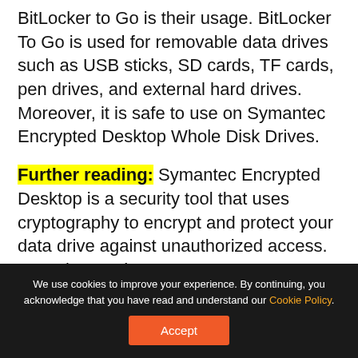BitLocker to Go is their usage. BitLocker To Go is used for removable data drives such as USB sticks, SD cards, TF cards, pen drives, and external hard drives. Moreover, it is safe to use on Symantec Encrypted Desktop Whole Disk Drives.
Further reading: Symantec Encrypted Desktop is a security tool that uses cryptography to encrypt and protect your data drive against unauthorized access. It can be used on Laptops, PCs, or removable media.
However, BitLocker is mainly used to encrypt the whole disk drive and will modify the boot sector.
We use cookies to improve your experience. By continuing, you acknowledge that you have read and understand our Cookie Policy.